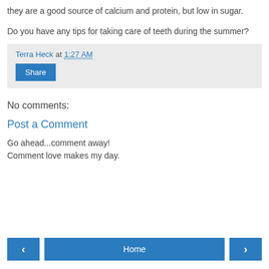they are a good source of calcium and protein, but low in sugar.
Do you have any tips for taking care of teeth during the summer?
Terra Heck at 1:27 AM
Share
No comments:
Post a Comment
Go ahead...comment away!
Comment love makes my day.
< Home >